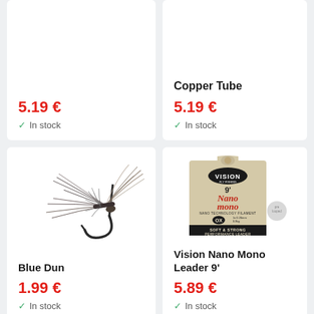5.19 €
In stock
Copper Tube
5.19 €
In stock
[Figure (photo): Blue Dun fly fishing lure with hook and feathers]
Blue Dun
1.99 €
In stock
[Figure (photo): Vision Nano Mono Leader 9' product packaging, tan/kraft colored package with Vision logo and Nano Mono text in red script]
Vision Nano Mono Leader 9'
5.89 €
In stock